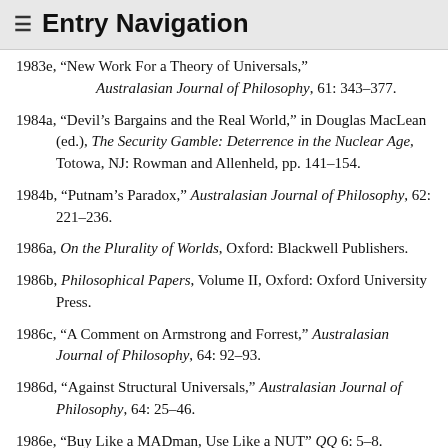≡ Entry Navigation
1983e, "New Work For a Theory of Universals," Australasian Journal of Philosophy, 61: 343–377.
1984a, "Devil's Bargains and the Real World," in Douglas MacLean (ed.), The Security Gamble: Deterrence in the Nuclear Age, Totowa, NJ: Rowman and Allenheld, pp. 141–154.
1984b, "Putnam's Paradox," Australasian Journal of Philosophy, 62: 221–236.
1986a, On the Plurality of Worlds, Oxford: Blackwell Publishers.
1986b, Philosophical Papers, Volume II, Oxford: Oxford University Press.
1986c, "A Comment on Armstrong and Forrest," Australasian Journal of Philosophy, 64: 92–93.
1986d, "Against Structural Universals," Australasian Journal of Philosophy, 64: 25–46.
1986e, "Buy Like a MADman, Use Like a NUT" QQ 6: 5–8.